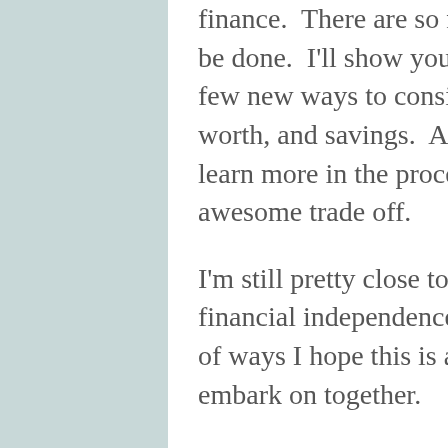finance.  There are so many ways this can be done.  I'll show you some examples of a few new ways to consider finance, net worth, and savings.  And I have no doubt I'll learn more in the process, and that's a pretty awesome trade off.
I'm still pretty close to the beginning of my financial independence journey, and in a lot of ways I hope this is a journey we can embark on together.
For a long time in the early part of my career both as an actor and then producer, I've